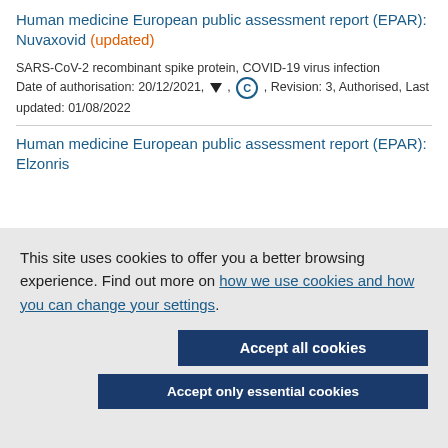Human medicine European public assessment report (EPAR): Nuvaxovid (updated)
SARS-CoV-2 recombinant spike protein, COVID-19 virus infection Date of authorisation: 20/12/2021, ▼, C, Revision: 3, Authorised, Last updated: 01/08/2022
Human medicine European public assessment report (EPAR): Elzonris
This site uses cookies to offer you a better browsing experience. Find out more on how we use cookies and how you can change your settings.
Accept all cookies
Accept only essential cookies